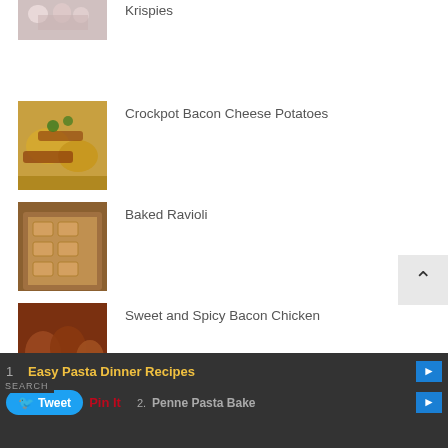[Figure (photo): Food photo - partially visible at top, appears to be a dessert or rice dish]
Krispies
[Figure (photo): Food photo - Crockpot Bacon Cheese Potatoes, sliced potatoes with bacon and green onions]
Crockpot Bacon Cheese Potatoes
[Figure (photo): Food photo - Baked Ravioli in a baking dish]
Baked Ravioli
[Figure (photo): Food photo - Sweet and Spicy Bacon Chicken, bacon-wrapped chicken pieces]
Sweet and Spicy Bacon Chicken
[Figure (photo): Food photo - Hasselback potatoes, sliced fan-style potatoes]
Your New Favorite Way to Cook Potatoes
1   Easy Pasta Dinner Recipes
2.  Penne Pasta Bake